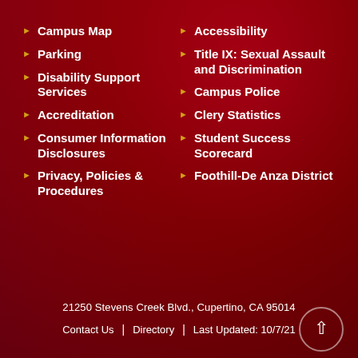Campus Map
Parking
Disability Support Services
Accreditation
Consumer Information Disclosures
Privacy, Policies & Procedures
Accessibility
Title IX: Sexual Assault and Discrimination
Campus Police
Clery Statistics
Student Success Scorecard
Foothill-De Anza District
21250 Stevens Creek Blvd., Cupertino, CA 95014 | Contact Us | Directory | Last Updated: 10/7/21